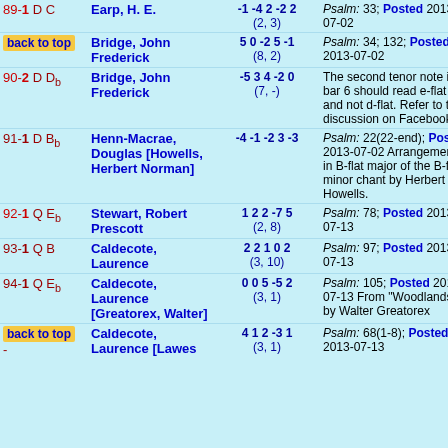| ID | Name | Numbers | Info |
| --- | --- | --- | --- |
| 89-1 D C | Earp, H. E. | -1 -4 2 -2 2 (2, 3) | Psalm: 33; Posted 2013-07-02 |
| back to top | Bridge, John Frederick | 5 0 -2 5 -1 (8, 2) | Psalm: 34; 132; Posted 2013-07-02 |
| 90-2 D Db | Bridge, John Frederick | -5 3 4 -2 0 (7, -) | The second tenor note in bar 6 should read e-flat and not d-flat. Refer to the discussion on Facebook. |
| 91-1 D Bb | Henn-Macrae, Douglas [Howells, Herbert Norman] | -4 -1 -2 3 -3 | Psalm: 22(22-end); Posted 2013-07-02 Arrangement in B-flat major of the B-flat minor chant by Herbert Howells. |
| 92-1 Q Eb | Stewart, Robert Prescott | 1 2 2 -7 5 (2, 8) | Psalm: 78; Posted 2013-07-13 |
| 93-1 Q B | Caldecote, Laurence | 2 2 1 0 2 (3, 10) | Psalm: 97; Posted 2013-07-13 |
| 94-1 Q Eb | Caldecote, Laurence [Greatorex, Walter] | 0 0 5 -5 2 (3, 1) | Psalm: 105; Posted 2013-07-13 From "Woodlands" by Walter Greatorex |
| back to top | Caldecote, Laurence [Lawes | 4 1 2 -3 1 (3, 1) | Psalm: 68(1-8); Posted 2013-07-13 |